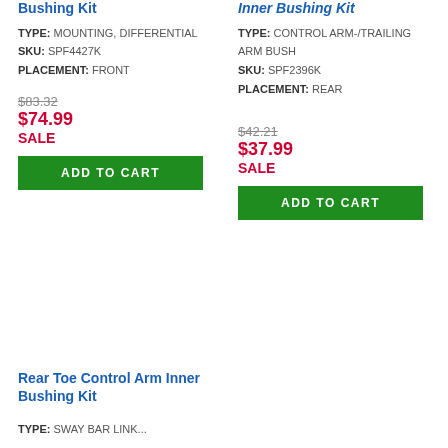Bushing Kit
TYPE: MOUNTING, DIFFERENTIAL
SKU: SPF4427K
PLACEMENT: FRONT
$83.32
$74.99
SALE
ADD TO CART
Inner Bushing Kit
TYPE: CONTROL ARM-/TRAILING ARM BUSH
SKU: SPF2396K
PLACEMENT: REAR
$42.21
$37.99
SALE
ADD TO CART
Rear Toe Control Arm Inner Bushing Kit
TYPE: ...